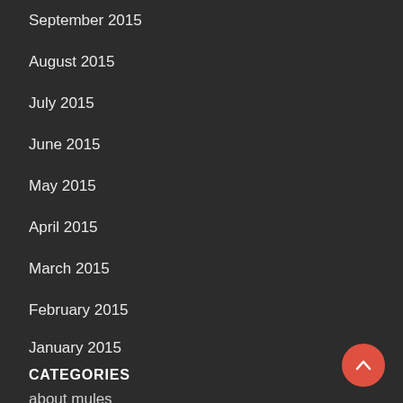September 2015
August 2015
July 2015
June 2015
May 2015
April 2015
March 2015
February 2015
January 2015
CATEGORIES
about mules